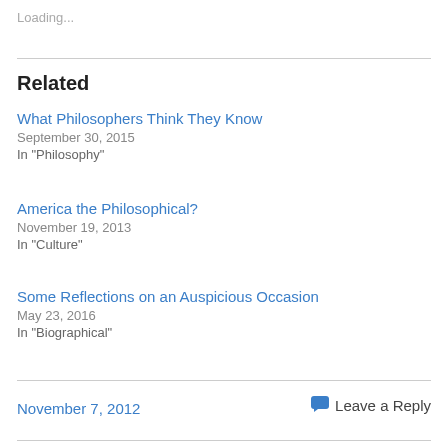Loading...
Related
What Philosophers Think They Know
September 30, 2015
In "Philosophy"
America the Philosophical?
November 19, 2013
In "Culture"
Some Reflections on an Auspicious Occasion
May 23, 2016
In "Biographical"
November 7, 2012
Leave a Reply